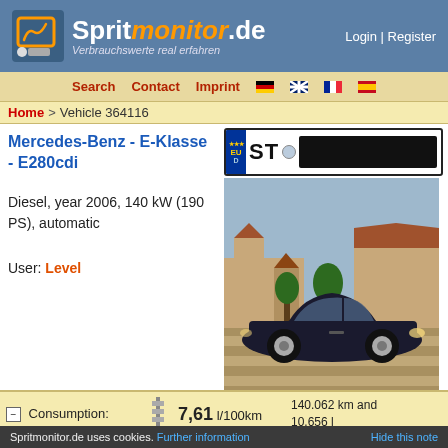Spritmonitor.de — Verbrauchswerte real erfahren | Login | Register
Search  Contact  Imprint
Home > Vehicle 364116
Mercedes-Benz - E-Klasse - E280cdi
Diesel, year 2006, 140 kW (190 PS), automatic
User: Level
[Figure (photo): License plate showing ST with blacked out number, and a photo of a dark blue Mercedes-Benz E-Class sedan parked on a paved area]
|  |  | Value | Detail |
| --- | --- | --- | --- |
| Consumption: |  | 7,61 l/100km | 140.062 km and 10.656 l |
| CO₂ |  | 201 g/km | 140.062 km and |
Spritmonitor.de uses cookies. Further information   Hide this note